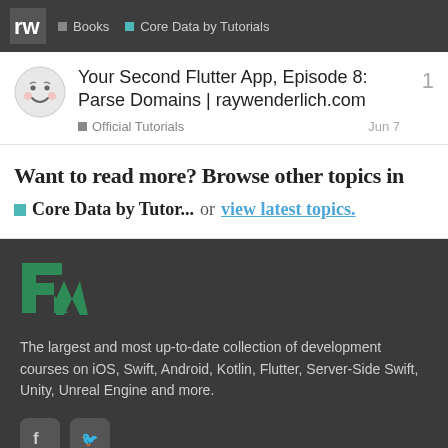Books | Core Data by Tutorials
Your Second Flutter App, Episode 8: Parse Domains | raywenderlich.com
Official Tutorials   Jun 7   1
Want to read more? Browse other topics in Core Data by Tutor... or view latest topics.
[Figure (logo): raywenderlich.com green logo mark]
The largest and most up-to-date collection of development courses on iOS, Swift, Android, Kotlin, Flutter, Server-Side Swift, Unity, Unreal Engine and more.
[Figure (illustration): Facebook and Twitter social media icons]